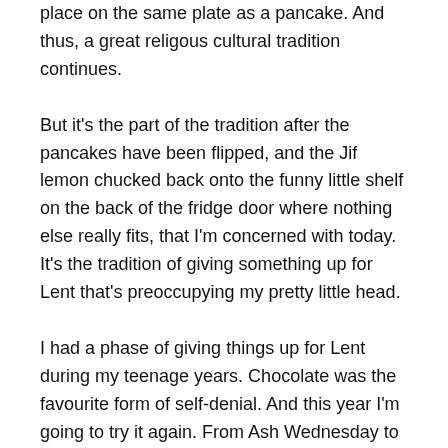place on the same plate as a pancake. And thus, a great religous cultural tradition continues.
But it's the part of the tradition after the pancakes have been flipped, and the Jif lemon chucked back onto the funny little shelf on the back of the fridge door where nothing else really fits, that I'm concerned with today. It's the tradition of giving something up for Lent that's preoccupying my pretty little head.
I had a phase of giving things up for Lent during my teenage years. Chocolate was the favourite form of self-denial. And this year I'm going to try it again. From Ash Wednesday to Easter with no chocolate. No chocolate bars. No chocolate cake. No chocolate biscuits. No hot chocolate. Strangely, the more detail I write down about this plan, the worse the idea seems